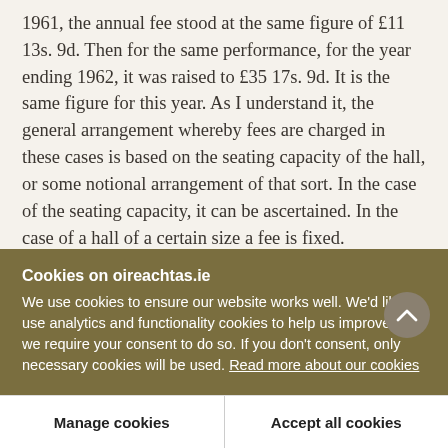1961, the annual fee stood at the same figure of £11 13s. 9d. Then for the same performance, for the year ending 1962, it was raised to £35 17s. 9d. It is the same figure for this year. As I understand it, the general arrangement whereby fees are charged in these cases is based on the seating capacity of the hall, or some notional arrangement of that sort. In the case of the seating capacity, it can be ascertained. In the case of a hall of a certain size a fee is fixed.
Cookies on oireachtas.ie
We use cookies to ensure our website works well. We'd like to use analytics and functionality cookies to help us improve it but we require your consent to do so. If you don't consent, only necessary cookies will be used. Read more about our cookies
Manage cookies
Accept all cookies